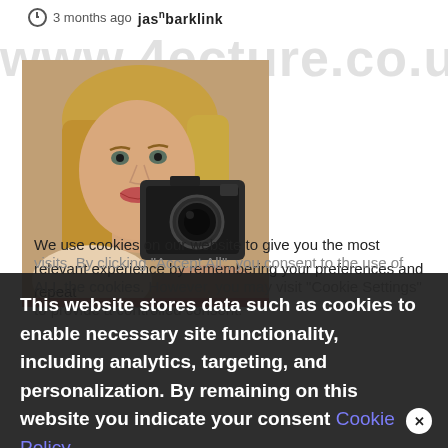3 months ago  jasnbarklink
www.4ecture.co.uk
[Figure (photo): Young woman with blonde hair holding a camera up to her face, taking a selfie in a mirror. Warm tones, vintage camera.]
We use cookies on our website to give you the most relevant experience by remembering your preferences and repeat visits. By clicking "Accept All", you consent to the use of ALL the cookies. However, you may visit "Cookie Settings" to provide a controlled consent.
This website stores data such as cookies to enable necessary site functionality, including analytics, targeting, and personalization. By remaining on this website you indicate your consent Cookie Policy